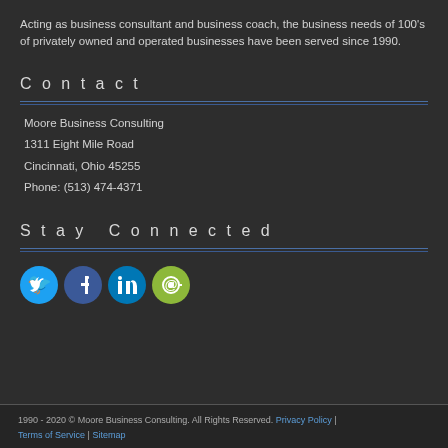Acting as business consultant and business coach, the business needs of 100's of privately owned and operated businesses have been served since 1990.
Contact
Moore Business Consulting
1311 Eight Mile Road
Cincinnati, Ohio 45255
Phone: (513) 474-4371
Stay Connected
[Figure (illustration): Four circular social media icons: Twitter (blue), Facebook (dark blue), LinkedIn (blue), Email (green/yellow)]
1990 - 2020 © Moore Business Consulting. All Rights Reserved. Privacy Policy | Terms of Service | Sitemap